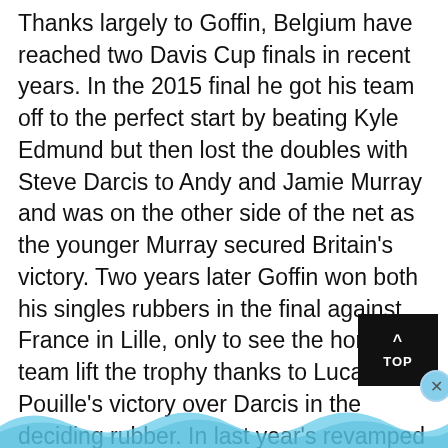Thanks largely to Goffin, Belgium have reached two Davis Cup finals in recent years. In the 2015 final he got his team off to the perfect start by beating Kyle Edmund but then lost the doubles with Steve Darcis to Andy and Jamie Murray and was on the other side of the net as the younger Murray secured Britain's victory. Two years later Goffin won both his singles rubbers in the final against France in Lille, only to see the home team lift the trophy thanks to Lucas Pouille's victory over Darcis in the deciding rubber. In last year's revamped Davis Cup Finals Belgium were denied a quarter-final spot by Australia.
Goffin loves the Davis Cup. "You're playing for your country, you're playi…
[Figure (other): TOP navigation button (dark background with upward arrow and TOP label) and close circle button, with decorative blue wave at bottom]